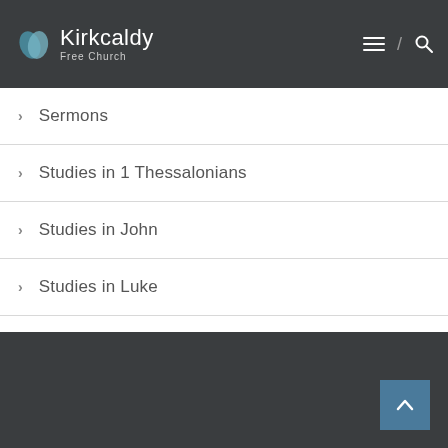Kirkcaldy Free Church
Sermons
Studies in 1 Thessalonians
Studies in John
Studies in Luke
The grace of God